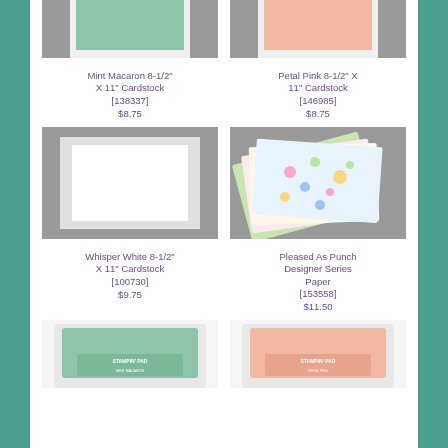[Figure (photo): Mint Macaron 8-1/2 x 11 cardstock sheet, green, partially visible at top]
[Figure (photo): Petal Pink 8-1/2 x 11 cardstock sheet, pink/peach, partially visible at top]
Mint Macaron 8-1/2" X 11" Cardstock [138337] $8.75
Petal Pink 8-1/2" X 11" Cardstock [146985] $8.75
[Figure (photo): Whisper White 8-1/2 x 11 cardstock sheet, white on grey background]
[Figure (photo): Pleased As Punch Designer Series Paper, colorful patterned sheets fanned out]
Whisper White 8-1/2" X 11" Cardstock [100730] $9.75
Pleased As Punch Designer Series Paper [153558] $11.50
[Figure (photo): Stampin Pad in mint/green color, partially visible at bottom]
[Figure (photo): Stampin Pad in peach/pink color, partially visible at bottom]